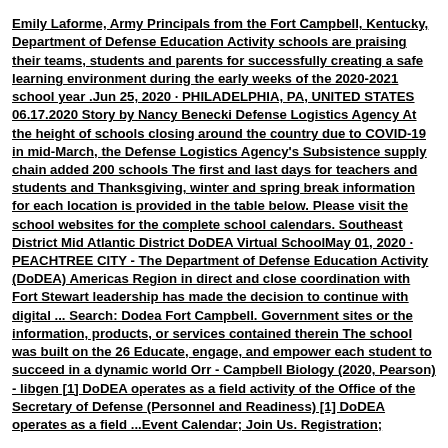Emily Laforme, Army Principals from the Fort Campbell, Kentucky, Department of Defense Education Activity schools are praising their teams, students and parents for successfully creating a safe learning environment during the early weeks of the 2020-2021 school year .Jun 25, 2020 · PHILADELPHIA, PA, UNITED STATES 06.17.2020 Story by Nancy Benecki Defense Logistics Agency At the height of schools closing around the country due to COVID-19 in mid-March, the Defense Logistics Agency's Subsistence supply chain added 200 schools The first and last days for teachers and students and Thanksgiving, winter and spring break information for each location is provided in the table below. Please visit the school websites for the complete school calendars. Southeast District Mid Atlantic District DoDEA Virtual SchoolMay 01, 2020 · PEACHTREE CITY - The Department of Defense Education Activity (DoDEA) Americas Region in direct and close coordination with Fort Stewart leadership has made the decision to continue with digital ... Search: Dodea Fort Campbell. Government sites or the information, products, or services contained therein The school was built on the 26 Educate, engage, and empower each student to succeed in a dynamic world Orr - Campbell Biology (2020, Pearson) - libgen [1] DoDEA operates as a field activity of the Office of the Secretary of Defense (Personnel and Readiness) [1] DoDEA operates as a field ...Event Calendar; Join Us. Registration;